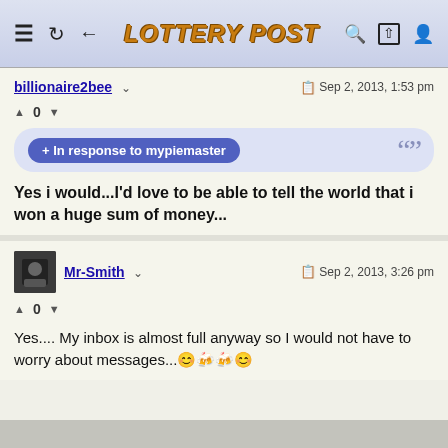Lottery Post
billionaire2bee  Sep 2, 2013, 1:53 pm
▲ 0 ▼
+ In response to mypiemaster
Yes i would...I'd love to be able to tell the world that i won a huge sum of money...
Mr-Smith  Sep 2, 2013, 3:26 pm
▲ 0 ▼
Yes.... My inbox is almost full anyway so I would not have to worry about messages...